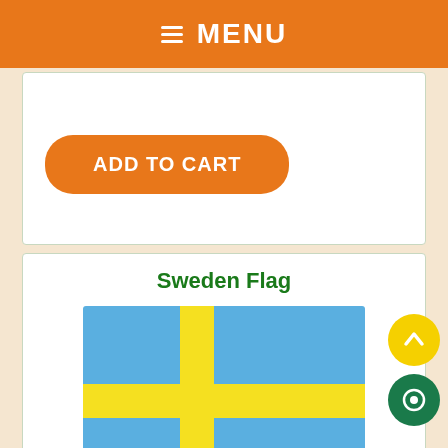≡ MENU
[Figure (other): ADD TO CART button (orange rounded rectangle)]
Sweden Flag
[Figure (illustration): Sweden flag: blue background with yellow Nordic cross]
More Info ...
Wishlist